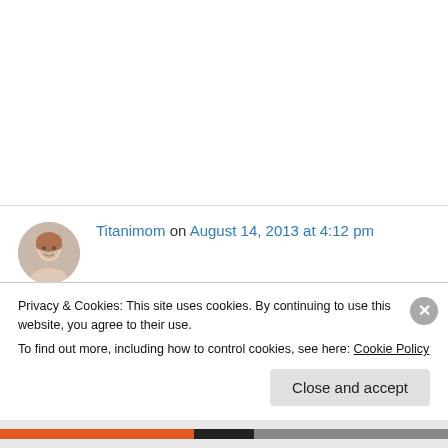Titanimom on August 14, 2013 at 4:12 pm
My childhood bedtime was marked by when Little House the TV show was over…My Mom and I watched together. Thanks for reminding me that this time is all too fleeting and precious and I absolutely need to stop and share the
Privacy & Cookies: This site uses cookies. By continuing to use this website, you agree to their use.
To find out more, including how to control cookies, see here: Cookie Policy
Close and accept